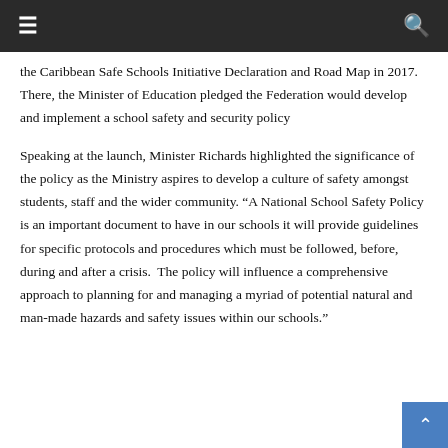Navigation bar with hamburger menu and search icon
the Caribbean Safe Schools Initiative Declaration and Road Map in 2017.  There, the Minister of Education pledged the Federation would develop and implement a school safety and security policy
Speaking at the launch, Minister Richards highlighted the significance of the policy as the Ministry aspires to develop a culture of safety amongst students, staff and the wider community. “A National School Safety Policy is an important document to have in our schools it will provide guidelines for specific protocols and procedures which must be followed, before, during and after a crisis.  The policy will influence a comprehensive approach to planning for and managing a myriad of potential natural and man-made hazards and safety issues within our schools.”